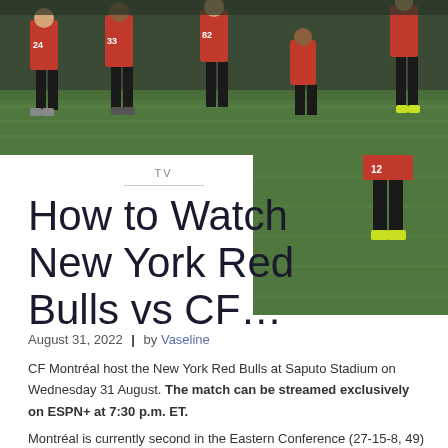[Figure (photo): Soccer players in red uniforms on a grass field, showing legs and cleats from a low angle. Player numbers 24, 33, 82 visible.]
TV
How to Watch New York Red Bulls vs CF…
August 31, 2022  |  by Vaseline
CF Montréal host the New York Red Bulls at Saputo Stadium on Wednesday 31 August. The match can be streamed exclusively on ESPN+ at 7:30 p.m. ET.
Montréal is currently second in the Eastern Conference (27-15-8, 49) ahead of